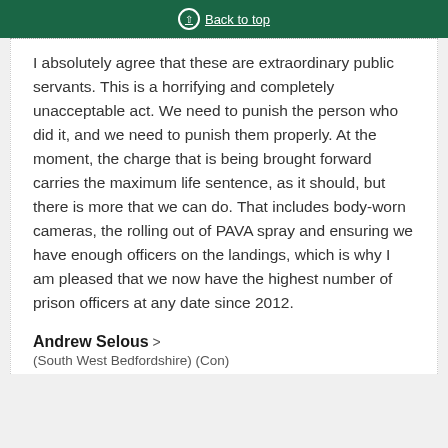Back to top
I absolutely agree that these are extraordinary public servants. This is a horrifying and completely unacceptable act. We need to punish the person who did it, and we need to punish them properly. At the moment, the charge that is being brought forward carries the maximum life sentence, as it should, but there is more that we can do. That includes body-worn cameras, the rolling out of PAVA spray and ensuring we have enough officers on the landings, which is why I am pleased that we now have the highest number of prison officers at any date since 2012.
Andrew Selous
(South West Bedfordshire) (Con)